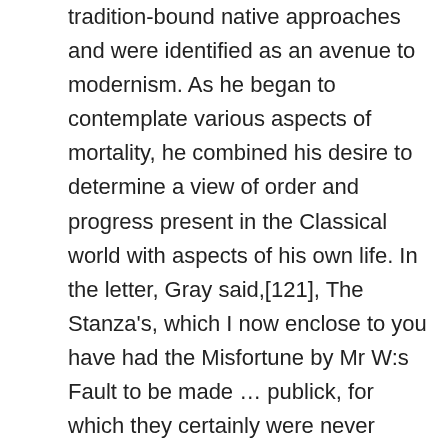tradition-bound native approaches and were identified as an avenue to modernism. As he began to contemplate various aspects of mortality, he combined his desire to determine a view of order and progress present in the Classical world with aspects of his own life. In the letter, Gray said,[121], The Stanza's, which I now enclose to you have had the Misfortune by Mr W:s Fault to be made ... publick, for which they certainly were never meant, but it is too late to complain. Alongside Alexander Pope, Thomas Gray is one of the most important English poets of the 18th century. [95] The pattern of including translations and imitations together continued into the 19th century with an 1806 bilingual edition in which a translation into French verse, signed simply L.D., appeared facing the English original page by page. Gray was a versatile